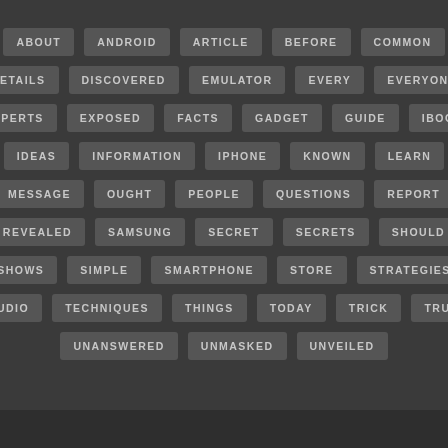[Figure (other): Tag cloud with words related to Android/smartphone topics displayed as dark gray rectangular badges with light gray uppercase text on a dark background. Words include: ABOUT, ANDROID, ARTICLE, BEFORE, COMMON, DETAILS, DISCOVERED, EMULATOR, EVERY, EVERYONE, EXPERTS, EXPOSED, FACTS, GADGET, GUIDE, IBOOK, IDEAS, INFORMATION, IPHONE, KNOWN, LEARN, MESSAGE, OUGHT, PEOPLE, QUESTIONS, REPORT, REVEALED, SAMSUNG, SECRET, SECRETS, SHOULD, SHOWS, SIMPLE, SMARTPHONE, STORE, STRATEGIES, STUDIO, TECHNIQUES, THINGS, TODAY, TRICK, TRUTH, UNANSWERED, UNMASKED, UNVEILED]